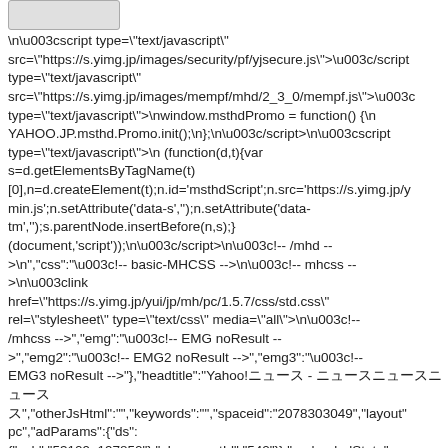[Figure (screenshot): A grey button element at the top left corner of the page]
\n\u003cscript type=\"text/javascript\" src=\"https://s.yimg.jp/images/security/pf/yjsecure.js\">\u003c/script type=\"text/javascript\" src=\"https://s.yimg.jp/images/mempf/mhd/2_3_0/mempf.js\">\u003c type=\"text/javascript\">\nwindow.msthdPromo = function() {\n YAHOO.JP.msthd.Promo.init();\n};\n\u003c/script>\n\u003cscript type=\"text/javascript\">\n (function(d,t){var s=d.getElementsByTagName(t) [0],n=d.createElement(t);n.id='msthdScript';n.src='https://s.yimg.jp/y min.js';n.setAttribute('data-s','');n.setAttribute('data-tm','');s.parentNode.insertBefore(n,s);} (document,'script'));\n\u003c/script>\n\u003c!-- /mhd -->\n","css":"\u003c!-- basic-MHCSS -->\n\u003c!-- mhcss -->\n\u003clink href=\"https://s.yimg.jp/yui/jp/mh/pc/1.5.7/css/std.css\" rel=\"stylesheet\" type=\"text/css\" media=\"all\">\n\u003c!-- /mhcss -->","emg":"\u003c!-- EMG noResult -->","emg2":"\u003c!-- EMG2 noResult -->","emg3":"\u003c!-- EMG3 noResult -->"},{"headtitle":"Yahoo!ニュース - 国内外のニュース","otherJsHtml":"","keywords":"","spaceid":"2078303049","layout":"pc","adParams":{"ds": {"sph":"53109_197850"},"placementId":"542"}},{"preloadedState": {"navigationHeader":{"searchParams": {},"isLogedIn":false,"isChieUser":false,"userNotificationCount":0,"